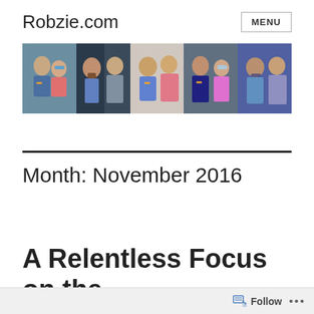Robzie.com   MENU
[Figure (photo): A horizontal strip of 5 selfie/group photos showing people at what appears to be a conference or event]
Month: November 2016
A Relentless Focus on the
Follow ...